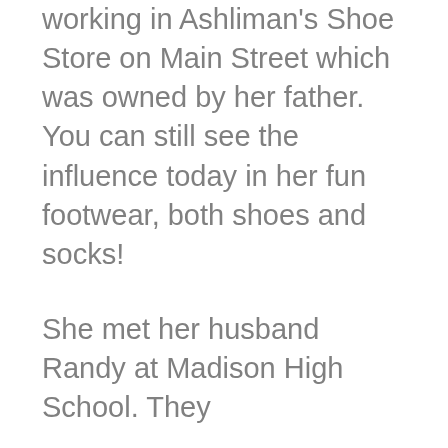working in Ashliman's Shoe Store on Main Street which was owned by her father. You can still see the influence today in her fun footwear, both shoes and socks!
She met her husband Randy at Madison High School. They dated them...